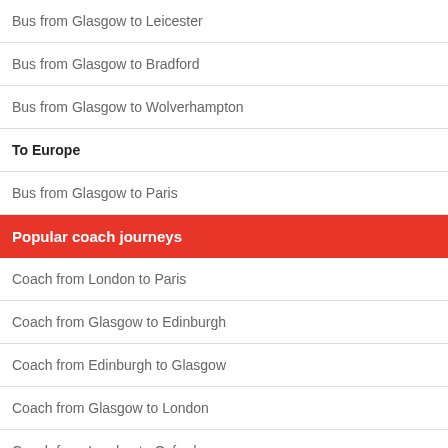Bus from Glasgow to Leicester
Bus from Glasgow to Bradford
Bus from Glasgow to Wolverhampton
To Europe
Bus from Glasgow to Paris
Popular coach journeys
Coach from London to Paris
Coach from Glasgow to Edinburgh
Coach from Edinburgh to Glasgow
Coach from Glasgow to London
Coach from London to Oxford